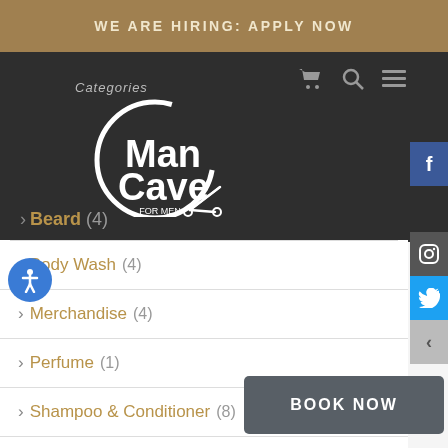WE ARE HIRING: APPLY NOW
[Figure (logo): Man Cave For Men barber shop logo with scissors, white on dark background]
> Beard (4)
> Body Wash (4)
> Merchandise (4)
> Perfume (1)
> Shampoo & Conditioner (8)
> Styling (39)